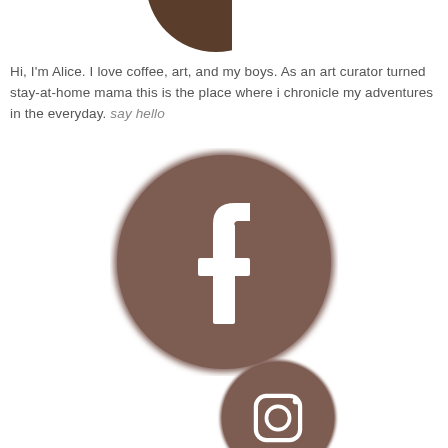[Figure (photo): Partial circular portrait photo of a person, cropped at top of page]
Hi, I'm Alice. I love coffee, art, and my boys. As an art curator turned stay-at-home mama this is the place where i chronicle my adventures in the everyday. say hello
[Figure (logo): Facebook logo icon — dark brownish-gray circle with white 'f' lettermark]
[Figure (logo): Instagram logo icon — dark brownish-gray circle with camera outline, partially visible at bottom of page]